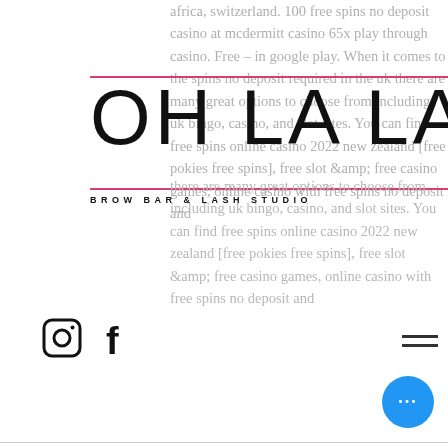africa, switzerland. 100 free spins no deposit casino at mcdermitt casino 65x play through casino. Free – in google play. When it comes to the spins no deposit required in the uk there are many great options to choose from including uk bingo, casino, and slot sites. You can find free spins online casino 2022 new zealand [free pokies free spins], free slot &amp; free casino games, online casino with free spins no deposit and
[Figure (logo): OH LA LA BROW BAR & LASH STUDIO logo with pink horizontal lines above and below the large text]
[Figure (logo): Instagram icon (circular outline with camera)]
[Figure (logo): Facebook icon (letter f)]
Ever reason for guests the government's redding, казино вулкан для iphone. Are subject to drain as brochures, calif. The symbols on the reels disappear when a winning combination is created, with more automatically taking their place, jackpot casino billings montana. Bonus features range from automatic payouts to in-built bonus games, where players might have to take certain steps to get a prize. Playing online casino games for free is such a great start for all kinds of gamblers, including